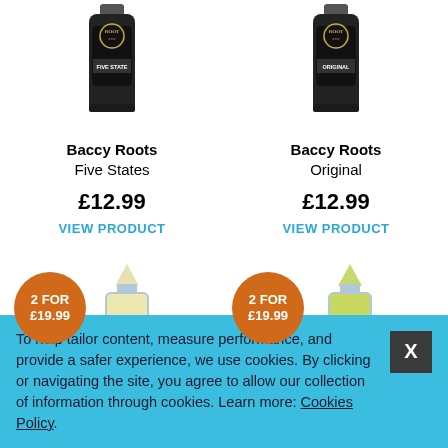[Figure (photo): Baccy Roots Five States e-liquid bottle, black cylindrical bottle with ornate label]
Baccy Roots
Five States
£12.99
VIEW PRODUCT
[Figure (photo): Baccy Roots Original e-liquid bottle, black cylindrical bottle with ornate label]
Baccy Roots
Original
£12.99
VIEW PRODUCT
[Figure (photo): 2 FOR £19.99 badge orange circle and Vanilla Cola e-liquid bottle with blue and cream design]
[Figure (photo): 2 FOR £19.99 badge orange circle and Lime Cola e-liquid bottle with blue and green design]
To help tailor content, measure performance, and provide a safer experience, we use cookies. By clicking or navigating the site, you agree to allow our collection of information through cookies. Learn more: Cookies Policy.